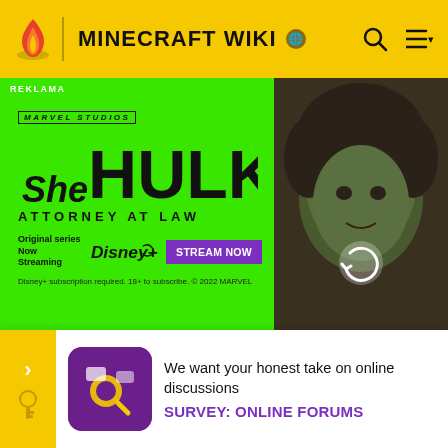MINECRAFT WIKI
[Figure (screenshot): She-Hulk: Attorney at Law Marvel Studios Disney+ advertisement banner on green background with character photo on right side]
| upcoming |
| --- |
| 1.14 | Zombie armor is added back into the game, and... |
We want your honest take on online discussions
SURVEY: ONLINE FORUMS